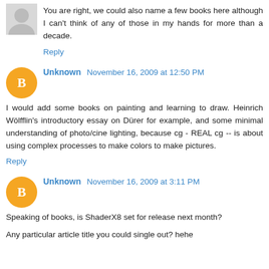You are right, we could also name a few books here although I can't think of any of those in my hands for more than a decade.
Reply
Unknown November 16, 2009 at 12:50 PM
I would add some books on painting and learning to draw. Heinrich Wölfflin's introductory essay on Dürer for example, and some minimal understanding of photo/cine lighting, because cg - REAL cg -- is about using complex processes to make colors to make pictures.
Reply
Unknown November 16, 2009 at 3:11 PM
Speaking of books, is ShaderX8 set for release next month?
Any particular article title you could single out? hehe